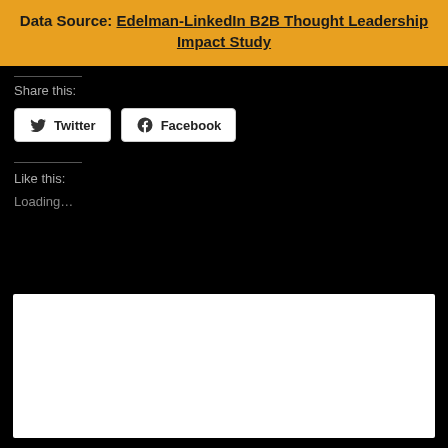Data Source: Edelman-LinkedIn B2B Thought Leadership Impact Study
Share this:
[Figure (other): Twitter and Facebook share buttons]
Like this:
Loading…
[Figure (other): White rectangular box/widget area at bottom of page]